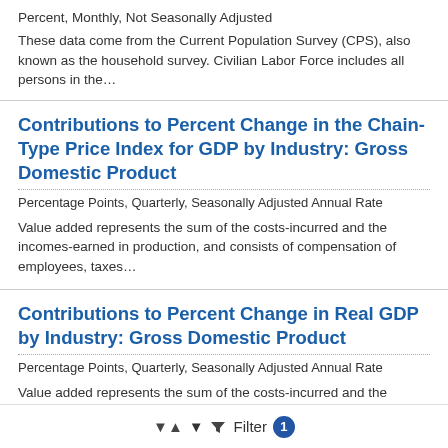Percent, Monthly, Not Seasonally Adjusted
These data come from the Current Population Survey (CPS), also known as the household survey. Civilian Labor Force includes all persons in the…
Contributions to Percent Change in the Chain-Type Price Index for GDP by Industry: Gross Domestic Product
Percentage Points, Quarterly, Seasonally Adjusted Annual Rate
Value added represents the sum of the costs-incurred and the incomes-earned in production, and consists of compensation of employees, taxes…
Contributions to Percent Change in Real GDP by Industry: Gross Domestic Product
Percentage Points, Quarterly, Seasonally Adjusted Annual Rate
Value added represents the sum of the costs-incurred and the incomes-earned in production, and consists of compensation of employees, taxes…
Filter 1